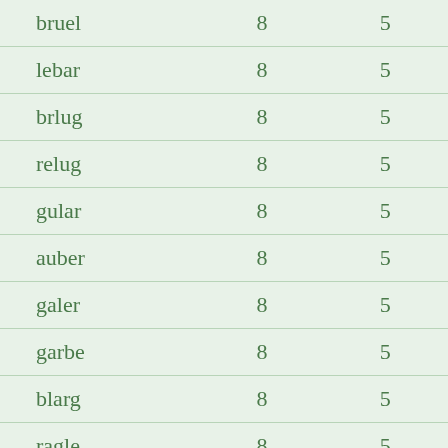| bruel | 8 | 5 |
| lebar | 8 | 5 |
| brlug | 8 | 5 |
| relug | 8 | 5 |
| gular | 8 | 5 |
| auber | 8 | 5 |
| galer | 8 | 5 |
| garbe | 8 | 5 |
| blarg | 8 | 5 |
| ragle | 8 | 5 |